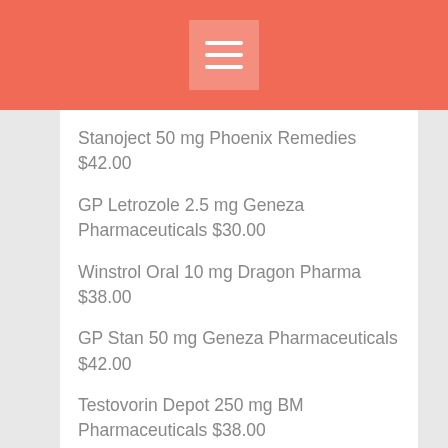≡
Stanoject 50 mg Phoenix Remedies $42.00
GP Letrozole 2.5 mg Geneza Pharmaceuticals $30.00
Winstrol Oral 10 mg Dragon Pharma $38.00
GP Stan 50 mg Geneza Pharmaceuticals $42.00
Testovorin Depot 250 mg BM Pharmaceuticals $38.00
Oxymetholone 50 mg Iran Hormone $85.00
Methyl-1-Test 10 mg Dragon Pharma $44.00
Sustanon 250 mg Organon $96.00
GP Bold 300 mg Geneza Pharmaceuticals $68.00